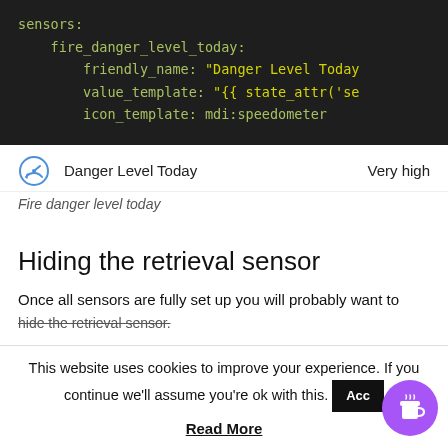[Figure (screenshot): Dark-themed code block showing YAML sensor configuration with keys: sensors, fire_danger_level_today, friendly_name: 'Danger Level Today', value_template: '{{ state_attr(\'se...', icon_template: mdi:speedometer]
[Figure (screenshot): Home Assistant UI row showing a speedometer icon, 'Danger Level Today' label, and 'Very high' value]
Fire danger level today
Hiding the retrieval sensor
Once all sensors are fully set up you will probably want to hide the retrieval sensor.
This website uses cookies to improve your experience. If you continue we’ll assume you’re ok with this.
Read More